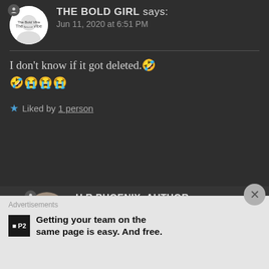THE BOLD GIRL says: Jun 11, 2020 at 6:51 PM
I don't know if it got deleted.🤣🤣😭😭😭
★ Liked by 1 person
H.R PHOENIX, AUTHOR says: Jun 11, 2020 at 1:21 PM
Ohhh!
Advertisements
Getting your team on the same page is easy. And free.